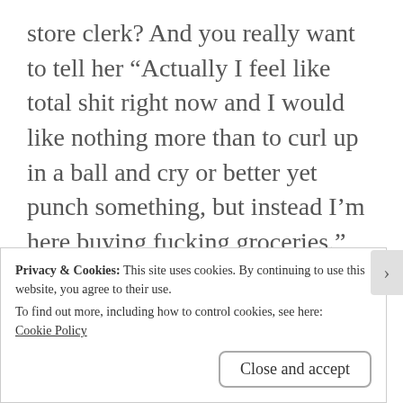store clerk? And you really want to tell her “Actually I feel like total shit right now and I would like nothing more than to curl up in a ball and cry or better yet punch something, but instead I’m here buying fucking groceries.” But instead you just mumble out a “Fine”?  I hate those days. As a survivor, I learned from the reactions of people around me that my story was too much for most people. So as I grew older, I self censored. A lot. Now I have a place where I don’t have to do that, and it is such a gift
Privacy & Cookies: This site uses cookies. By continuing to use this website, you agree to their use.
To find out more, including how to control cookies, see here: Cookie Policy
Close and accept